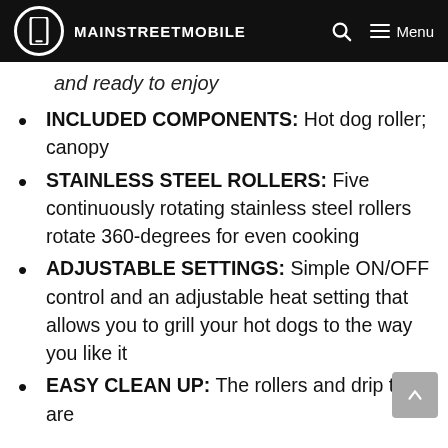MAINSTREETMOBILE
and ready to enjoy
INCLUDED COMPONENTS: Hot dog roller; canopy
STAINLESS STEEL ROLLERS: Five continuously rotating stainless steel rollers rotate 360-degrees for even cooking
ADJUSTABLE SETTINGS: Simple ON/OFF control and an adjustable heat setting that allows you to grill your hot dogs to the way you like it
EASY CLEAN UP: The rollers and drip tray are